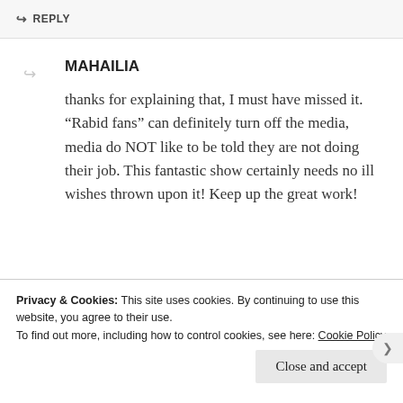↪ REPLY
MAHAILIA
thanks for explaining that, I must have missed it. “Rabid fans” can definitely turn off the media, media do NOT like to be told they are not doing their job. This fantastic show certainly needs no ill wishes thrown upon it! Keep up the great work!
JUNE 7, 2015 AT 6:01 PM
Privacy & Cookies: This site uses cookies. By continuing to use this website, you agree to their use.
To find out more, including how to control cookies, see here: Cookie Policy
Close and accept